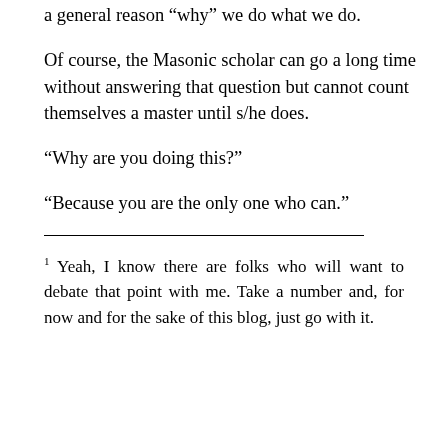a general reason “why” we do what we do.
Of course, the Masonic scholar can go a long time without answering that question but cannot count themselves a master until s/he does.
“Why are you doing this?”
“Because you are the only one who can.”
1 Yeah, I know there are folks who will want to debate that point with me. Take a number and, for now and for the sake of this blog, just go with it.